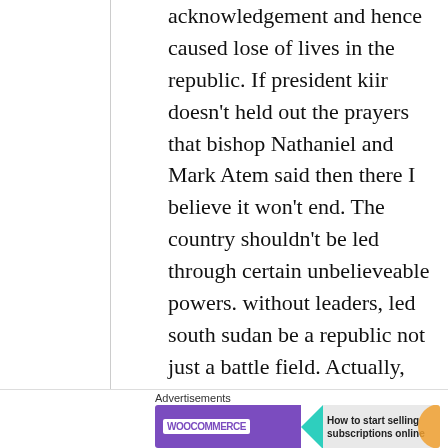acknowledgement and hence caused lose of lives in the republic. If president kiir doesn't held out the prayers that bishop Nathaniel and Mark Atem said then there I believe it won't end. The country shouldn't be led through certain unbelieveable powers. without leaders, led south sudan be a republic not just a battle field. Actually, South Sudan is lacking an appropriate understanding in which leaders vow to have enough capital for theirselves not
Advertisements
[Figure (other): WooCommerce advertisement banner: 'How to start selling subscriptions online']